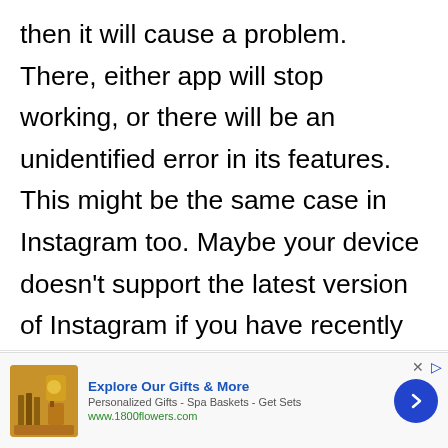then it will cause a problem. There, either app will stop working, or there will be an unidentified error in its features. This might be the same case in Instagram too. Maybe your device doesn't support the latest version of Instagram if you have recently
Manage Cookie Consent
To provide the best experiences, we use technologies like cookies to store and/or access device information. Consenting to these technologies will allow us to process data such as browsing behavior or unique IDs on this site. Not consenting or withdrawing consent, may adversely affect certain features and functions.
[Figure (screenshot): Video player showing 'No compatible source was found for this media.' overlaid on a blurred Instagram-related background image with an INSTAG text visible.]
[Figure (infographic): Advertisement banner for 1800flowers.com showing 'Explore Our Gifts & More', with product image of spa/gift items, subtext 'Personalized Gifts - Spa Baskets - Get Sets', URL www.1800flowers.com, and a blue arrow button.]